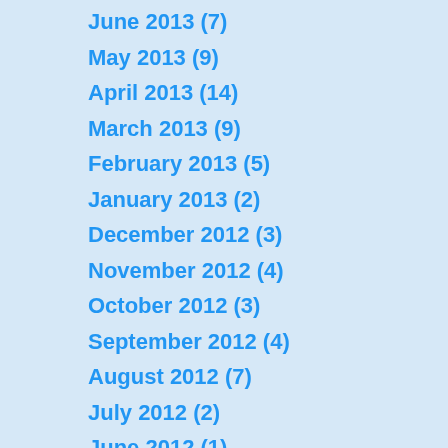June 2013 (7)
May 2013 (9)
April 2013 (14)
March 2013 (9)
February 2013 (5)
January 2013 (2)
December 2012 (3)
November 2012 (4)
October 2012 (3)
September 2012 (4)
August 2012 (7)
July 2012 (2)
June 2012 (1)
May 2012 (1)
April 2012 (2)
March 2012 (2)
February 2012 (3)
January 2012 (2)
October 2011 (10)